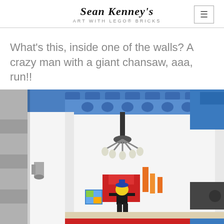Sean Kenney's Art with LEGO® Bricks
What's this, inside one of the walls? A crazy man with a giant chansaw, aaa, run!!
[Figure (photo): Close-up photograph of a LEGO scene inside a wall cross-section. Shows a LEGO minifigure with a blue hat and yellow head, a chandelier made of LEGO pieces hanging from a blue ceiling, red and orange LEGO furniture, and decorative elements. The scene depicts an interior room viewed from the side, with white and gray brick walls.]